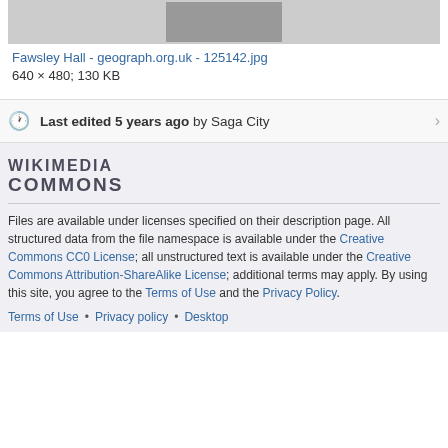[Figure (photo): Partial view of Fawsley Hall historical photo thumbnail at top of page]
Fawsley Hall - geograph.org.uk - 125142.jpg
640 × 480; 130 KB
Last edited 5 years ago by Saga City
[Figure (logo): Wikimedia Commons logo text: WIKIMEDIA COMMONS]
Files are available under licenses specified on their description page. All structured data from the file namespace is available under the Creative Commons CC0 License; all unstructured text is available under the Creative Commons Attribution-ShareAlike License; additional terms may apply. By using this site, you agree to the Terms of Use and the Privacy Policy.
Terms of Use • Privacy policy • Desktop